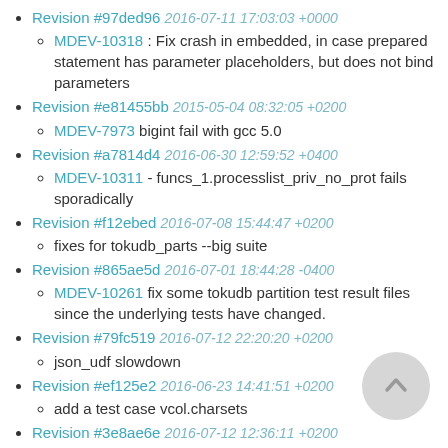Revision #97ded96 2016-07-11 17:03:03 +0000
MDEV-10318 : Fix crash in embedded, in case prepared statement has parameter placeholders, but does not bind parameters
Revision #e81455bb 2015-05-04 08:32:05 +0200
MDEV-7973 bigint fail with gcc 5.0
Revision #a7814d4 2016-06-30 12:59:52 +0400
MDEV-10311 - funcs_1.processlist_priv_no_prot fails sporadically
Revision #f12ebed 2016-07-08 15:44:47 +0200
fixes for tokudb_parts --big suite
Revision #865ae5d 2016-07-01 18:44:28 -0400
MDEV-10261 fix some tokudb partition test result files since the underlying tests have changed.
Revision #79fc519 2016-07-12 22:20:20 +0200
json_udf slowdown
Revision #ef125e2 2016-06-23 14:41:51 +0200
add a test case vcol.charsets
Revision #3e8ae6e 2016-07-12 12:36:11 +0200
MDEV-10211 postfix - in ssl.test, remove remaining SHOW STATUS LIKE 'Ssl_cipher'
Revision #31e763d 2016-07-11 21:29:18 +0200
MDEV-10311 : fix ssl.test not to use specific value of